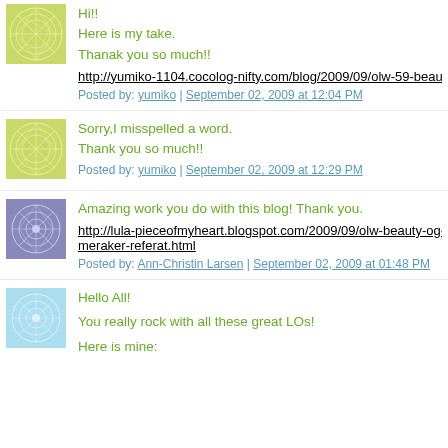[Figure (illustration): Yellow-green circular geometric pattern avatar for yumiko (first comment)]
Hi!!
Here is my take.
Thanak you so much!!
http://yumiko-1104.cocolog-nifty.com/blog/2009/09/olw-59-beaut-
Posted by: yumiko | September 02, 2009 at 12:04 PM
[Figure (illustration): Yellow-green circular geometric pattern avatar for yumiko (second comment)]
Sorry,I misspelled a word.
Thank you so much!!
Posted by: yumiko | September 02, 2009 at 12:29 PM
[Figure (illustration): Blue-purple circular geometric pattern avatar for Ann-Christin Larsen]
Amazing work you do with this blog! Thank you.
http://lula-pieceofmyheart.blogspot.com/2009/09/olw-beauty-og-meraker-referat.html
Posted by: Ann-Christin Larsen | September 02, 2009 at 01:48 PM
[Figure (illustration): Light blue circular geometric pattern avatar for fourth commenter]
Hello All!
You really rock with all these great LOs!
Here is mine: